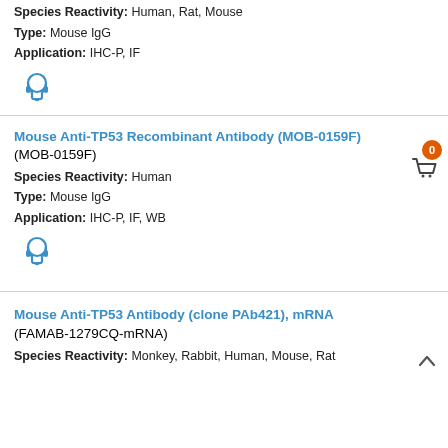Species Reactivity: Human, Rat, Mouse
Type: Mouse IgG
Application: IHC-P, IF
[Figure (illustration): Headset/support icon in blue]
Mouse Anti-TP53 Recombinant Antibody (MOB-0159F) (MOB-0159F)
Species Reactivity: Human
Type: Mouse IgG
Application: IHC-P, IF, WB
[Figure (illustration): Headset/support icon in blue]
Mouse Anti-TP53 Antibody (clone PAb421), mRNA (FAMAB-1279CQ-mRNA)
Species Reactivity: Monkey, Rabbit, Human, Mouse, Rat